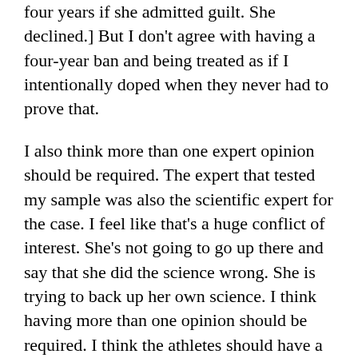four years if she admitted guilt. She declined.] But I don't agree with having a four-year ban and being treated as if I intentionally doped when they never had to prove that.
I also think more than one expert opinion should be required. The expert that tested my sample was also the scientific expert for the case. I feel like that's a huge conflict of interest. She's not going to go up there and say that she did the science wrong. She is trying to back up her own science. I think having more than one opinion should be required. I think the athletes should have a right to request testing done with their own sample. Us asking for the pharmacokinetic analysis to be done. We felt that would help prove the source